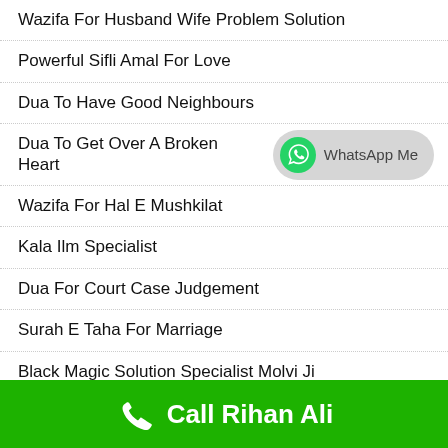Wazifa For Husband Wife Problem Solution
Powerful Sifli Amal For Love
Dua To Have Good Neighbours
Dua To Get Over A Broken Heart
Wazifa For Hal E Mushkilat
Kala Ilm Specialist
Dua For Court Case Judgement
Surah E Taha For Marriage
Black Magic Solution Specialist Molvi Ji
Istikhara Dua For Black Magic
Quranic Dua To Make Someone Agree
Islamic Dua To Attract Customers
Call Rihan Ali